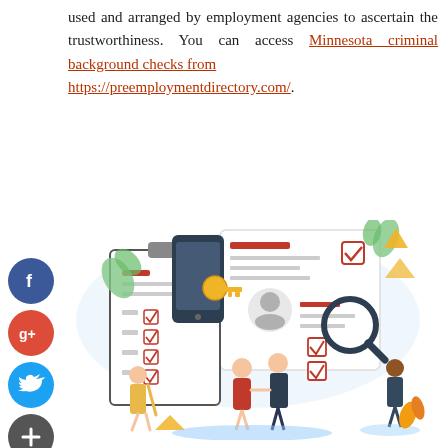used and arranged by employment agencies to ascertain the trustworthiness. You can access Minnesota criminal background checks from https://preemploymentdirectory.com/.
[Figure (illustration): Illustration of employment background check concept: clipboards with checklists, a person profile with magnifying glass, a smartphone, gold keys, and several illustrated people including professionals shaking hands and reviewing documents. Social media share buttons (Facebook, Google+, Twitter, Add) on the left side.]